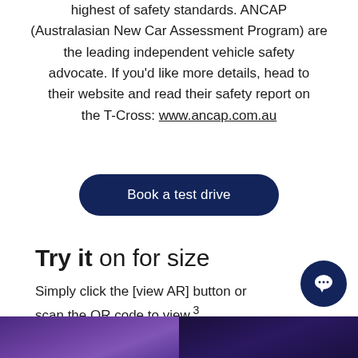highest of safety standards. ANCAP (Australasian New Car Assessment Program) are the leading independent vehicle safety advocate. If you'd like more details, head to their website and read their safety report on the T-Cross: www.ancap.com.au
Book a test drive
Try it on for size
Simply click the [view AR] button or scan the QR code to view.3
[Figure (photo): Bottom strip showing a purple/dark car image split into two panels]